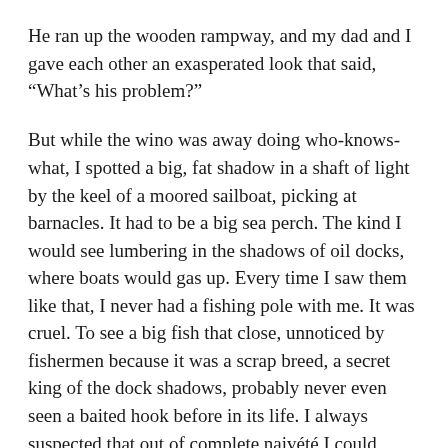He ran up the wooden rampway, and my dad and I gave each other an exasperated look that said, “What’s his problem?”
But while the wino was away doing who-knows-what, I spotted a big, fat shadow in a shaft of light by the keel of a moored sailboat, picking at barnacles. It had to be a big sea perch. The kind I would see lumbering in the shadows of oil docks, where boats would gas up. Every time I saw them like that, I never had a fishing pole with me. It was cruel. To see a big fish that close, unnoticed by fishermen because it was a scrap breed, a secret king of the dock shadows, probably never even seen a baited hook before in its life. I always suspected that out of complete naivété I could catch one of those virgin kings on my first cast. That, so unaccustomed to the stresses of pursuing fishermen, even if it saw the nylon filament of my